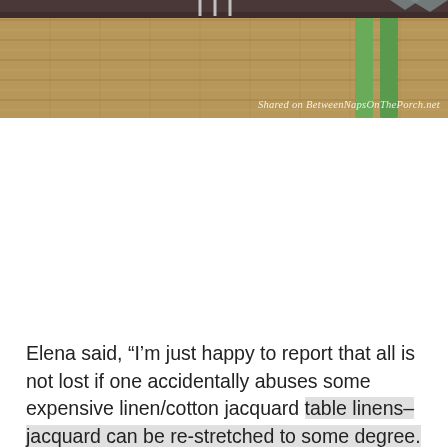[Figure (photo): Partial photo of a table setting with brown/tan woven texture and green chair visible, with watermark text 'Shared on BetweenNapsOnThePorch.net' in white italic text at bottom right.]
Elena said, “I’m just happy to report that all is not lost if one accidentally abuses some expensive linen/cotton jacquard table linens–jacquard can be re-stretched to some degree. Of course, unshrinking the dining room tablecloth is going to be a bit more time consuming, but more on that later.”